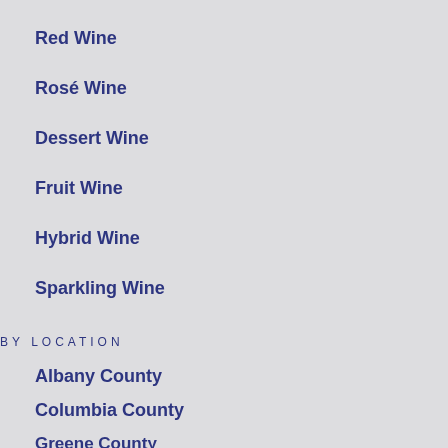Red Wine
Rosé Wine
Dessert Wine
Fruit Wine
Hybrid Wine
Sparkling Wine
BY LOCATION
Albany County
Columbia County
Greene County
Renesselaer County
Schenectady County